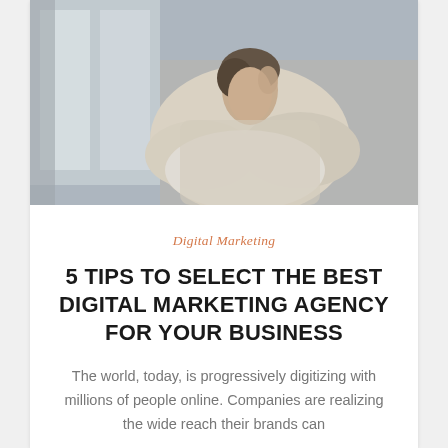[Figure (photo): A woman in a cream/beige chunky knit sweater sitting in a chair, holding a pillow, appearing thoughtful or pensive, with a window and soft indoor lighting in the background.]
Digital Marketing
5 TIPS TO SELECT THE BEST DIGITAL MARKETING AGENCY FOR YOUR BUSINESS
The world, today, is progressively digitizing with millions of people online. Companies are realizing the wide reach their brands can